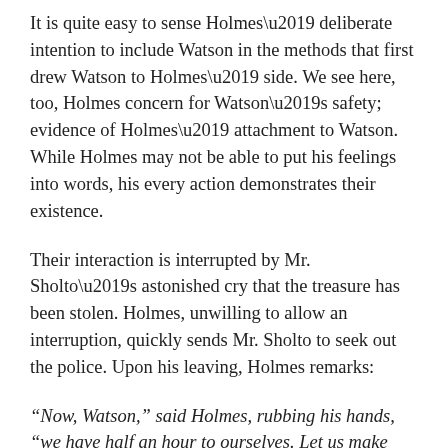It is quite easy to sense Holmes' deliberate intention to include Watson in the methods that first drew Watson to Holmes' side. We see here, too, Holmes concern for Watson's safety; evidence of Holmes' attachment to Watson. While Holmes may not be able to put his feelings into words, his every action demonstrates their existence.
Their interaction is interrupted by Mr. Sholto's astonished cry that the treasure has been stolen. Holmes, unwilling to allow an interruption, quickly sends Mr. Sholto to seek out the police. Upon his leaving, Holmes remarks:
“Now, Watson,” said Holmes, rubbing his hands, “we have half an hour to ourselves. Let us make good use of it.
There is obvious relief in Holmes’ tone; that he should have Watson alone for the first time that evening must have been of great comfort to him. Indeed, when one notes Watson’s response: